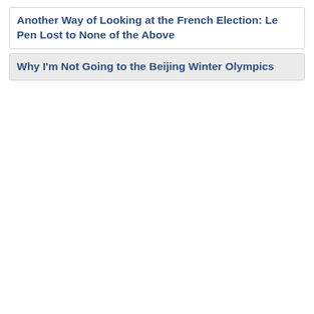Another Way of Looking at the French Election: Le Pen Lost to None of the Above
Why I'm Not Going to the Beijing Winter Olympics